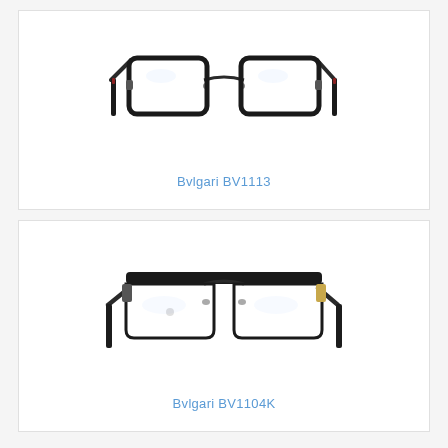[Figure (photo): Bvlgari BV1113 eyeglasses with dark metal rectangular frames and dark temples with subtle red accent]
Bvlgari BV1113
[Figure (photo): Bvlgari BV1104K eyeglasses with dark metal rectangular frames featuring gold accent on the hinge and dark temples]
Bvlgari BV1104K